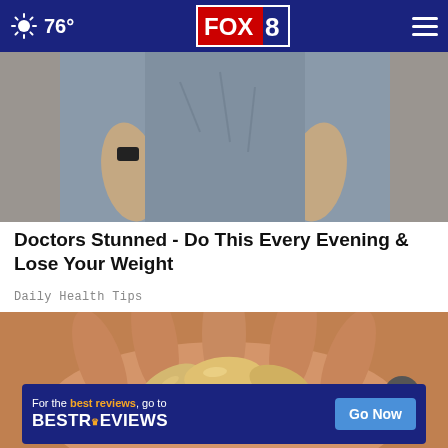76° FOX 8
[Figure (photo): Partial view of a person from torso down wearing a gray sleeveless top with hands at sides, outdoors on concrete]
Doctors Stunned - Do This Every Evening & Lose Your Weight
Daily Health Tips
[Figure (photo): Close-up of a hand holding several cashew nuts]
[Figure (infographic): Advertisement banner: For the best reviews, go to BESTREVIEWS with a Go Now button]